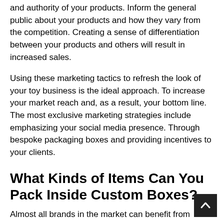and authority of your products. Inform the general public about your products and how they vary from the competition. Creating a sense of differentiation between your products and others will result in increased sales.
Using these marketing tactics to refresh the look of your toy business is the ideal approach. To increase your market reach and, as a result, your bottom line. The most exclusive marketing strategies include emphasizing your social media presence. Through bespoke packaging boxes and providing incentives to your clients.
What Kinds of Items Can You Pack Inside Custom Boxes?
Almost all brands in the market can benefit from